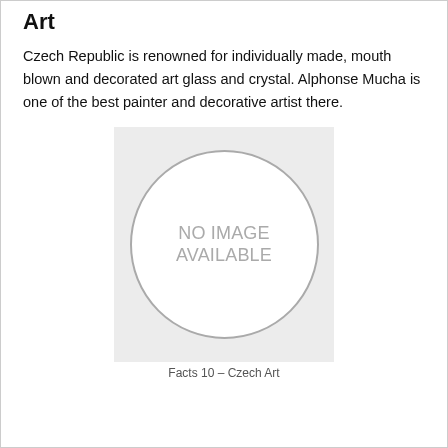Art
Czech Republic is renowned for individually made, mouth blown and decorated art glass and crystal. Alphonse Mucha is one of the best painter and decorative artist there.
[Figure (illustration): Placeholder image with 'NO IMAGE AVAILABLE' text inside a circle on a grey square background.]
Facts 10 – Czech Art